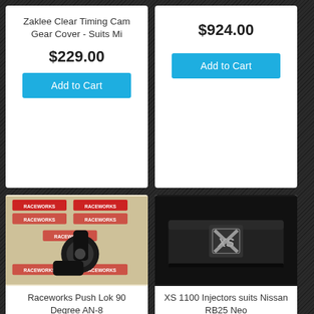[Figure (photo): Product card top-left: Zaklee Clear Timing Cam Gear Cover - Suits Mi, price $229.00, Add to Cart button]
[Figure (photo): Product card top-right: price $924.00, Add to Cart button]
[Figure (photo): Product card bottom-left: Raceworks Push Lok 90 Degree AN-8, photo of black 90 degree hose fitting on Raceworks branded card]
[Figure (photo): Product card bottom-right: XS 1100 Injectors suits Nissan RB25 Neo, black XS branded box]